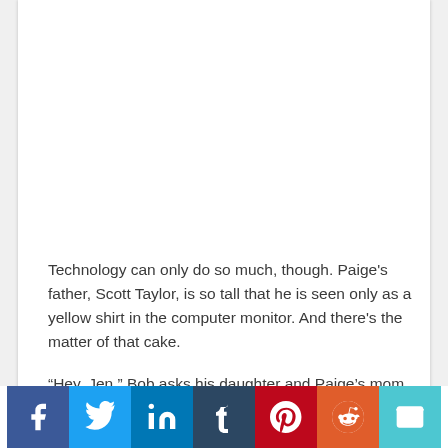Technology can only do so much, though. Paige's father, Scott Taylor, is so tall that he is seen only as a yellow shirt in the computer monitor. And there's the matter of that cake.
“Hey, Jen,” Bob asks his daughter and Paige’s mom,
[Figure (other): Social sharing button bar with icons for Facebook, Twitter, LinkedIn, Tumblr, Pinterest, Reddit, and Email]